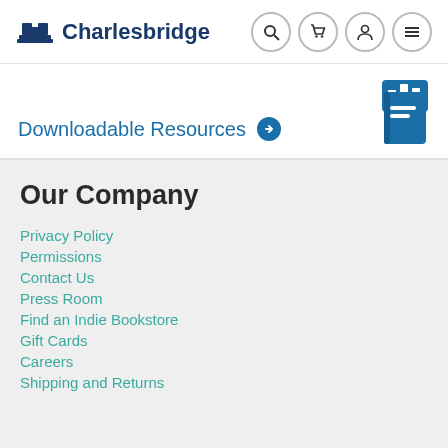Charlesbridge
Downloadable Resources →
Our Company
Privacy Policy
Permissions
Contact Us
Press Room
Find an Indie Bookstore
Gift Cards
Careers
Shipping and Returns